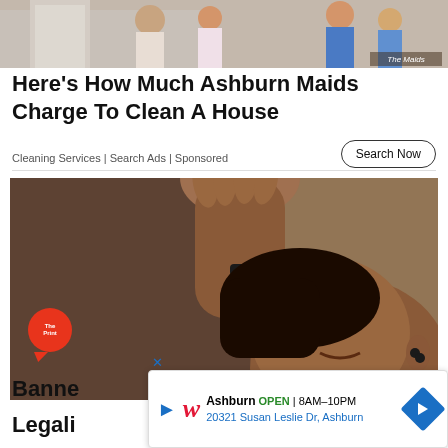[Figure (photo): Advertisement banner showing cleaning maids/service workers in blue uniforms with The Maids label]
Here's How Much Ashburn Maids Charge To Clean A House
Cleaning Services | Search Ads | Sponsored
[Figure (photo): Woman tilting head back holding a key or dropper to her mouth, The Print logo overlaid bottom left, Advertisement label at bottom center]
Banned
Legali